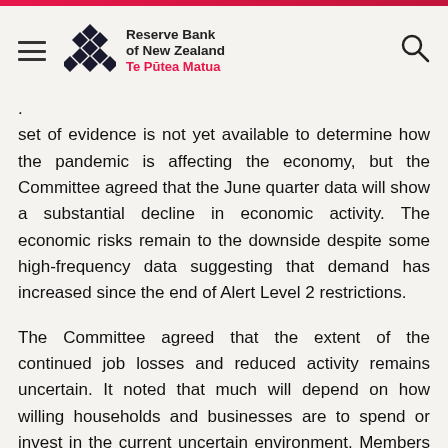Reserve Bank of New Zealand | Te Pūtea Matua
set of evidence is not yet available to determine how the pandemic is affecting the economy, but the Committee agreed that the June quarter data will show a substantial decline in economic activity. The economic risks remain to the downside despite some high-frequency data suggesting that demand has increased since the end of Alert Level 2 restrictions.
The Committee agreed that the extent of the continued job losses and reduced activity remains uncertain. It noted that much will depend on how willing households and businesses are to spend or invest in the current uncertain environment. Members noted that household and business confidence remain weak.
The Committee discussed the importance of fiscal and monetary policy support in lifting economic activity and employment. Members noted that announced fiscal policy measures are expected to support economic activity. The extent of recovery will depend in part